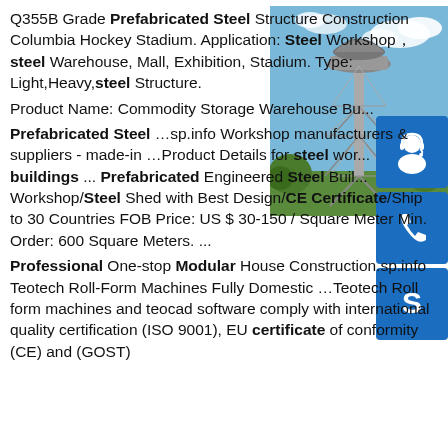Q355B Grade Prefabricated Steel Structure Construction Columbia Hockey Stadium. Application: Steel Workshop，steel Warehouse, Mall, Exhibition, Stadium. Type: Light,Heavy,steel Structure. Product Name: Commodity Storage Warehouse Bu... Prefabricated Steel …sp.info Workshop manufacturers & suppliers - made-in …Product Details for steel wor... buildings ... Prefabricated Engineered Steel Buil... Workshop/Steel Shed with Best Design/CE Certificate/Ship to 30 Countries FOB Price: US $ 30-150 / Square Meter Min. Order: 600 Square Meters. ... Professional One-stop Modular House Construction.sp.info Teotech Roll-Form Machines Fully Domestic …Teotech Roll form machines and teocad software comply with international quality certification (ISO 9001), EU certificate of conformity (CE) and (GOST)
[Figure (photo): Photo of a tall steel lattice tower structure under blue sky with clouds and green trees]
[Figure (illustration): Blue icon button with white customer service / headset person silhouette]
[Figure (illustration): Blue icon button with white telephone handset icon]
[Figure (illustration): Blue icon button with white Skype logo S]